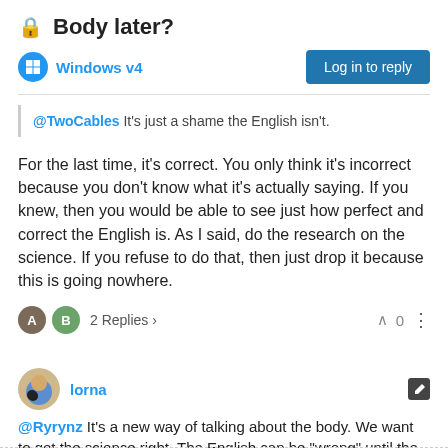🔒 Body later?
Windows v4
Log in to reply
@TwoCables It's just a shame the English isn't.
For the last time, it's correct. You only think it's incorrect because you don't know what it's actually saying. If you knew, then you would be able to see just how perfect and correct the English is. As I said, do the research on the science. If you refuse to do that, then just drop it because this is going nowhere.
2 Replies > 0
lorna
@Ryrynz It's a new way of talking about the body. We want to get the science right. The English can be "wrong" until the rest of the world catches up. ¯\(0)/¯